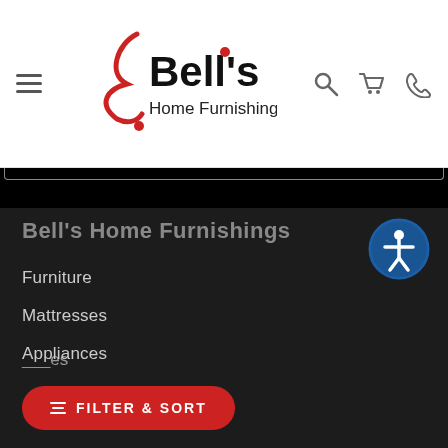[Figure (logo): Bell's Home Furnishings logo with red decorative element and black bold text]
Furniture
Mattresses
Appliances
Clearance
Outlet
Bell's Home Furnishings